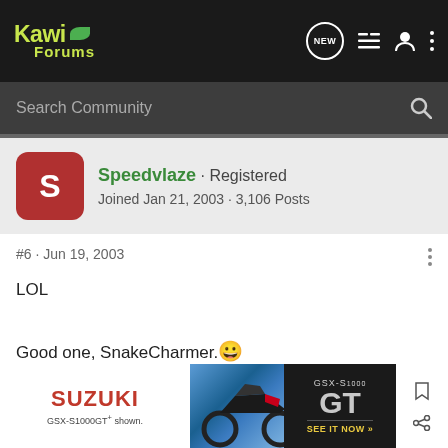Kawi Forums
Search Community
Speedvlaze · Registered
Joined Jan 21, 2003 · 3,106 Posts
#6 · Jun 19, 2003
LOL

Good one, SnakeCharmer. 😀
Motorcycle Wiki
[Figure (screenshot): Suzuki GSX-S1000GT advertisement banner showing motorcycle and 'SEE IT NOW' call to action]